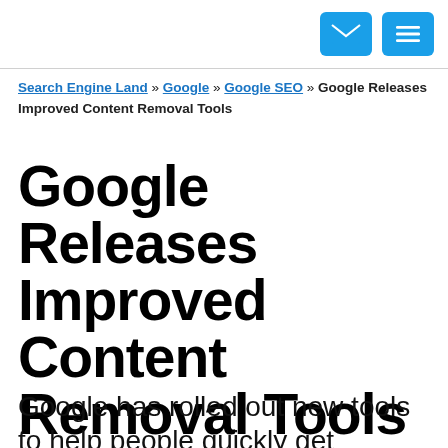[email icon] [menu icon]
Search Engine Land » Google » Google SEO » Google Releases Improved Content Removal Tools
Google Releases Improved Content Removal Tools
Google has rolled out new tools to help people quickly get content removed from its search engine. Those targeted at site